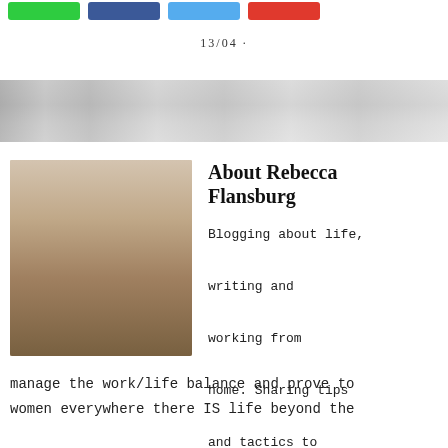[Figure (other): Row of four social share buttons: green, dark blue, light blue, red]
13/04 ·
[Figure (photo): Gray banner/header image with blurred interior background]
[Figure (photo): Portrait photo of Rebecca Flansburg, a woman with glasses, short dark hair, wearing a denim jacket and colorful necklace, smiling]
About Rebecca Flansburg
Blogging about life, writing and working from home. Sharing tips and tactics to
manage the work/life balance and prove to women everywhere there IS life beyond the